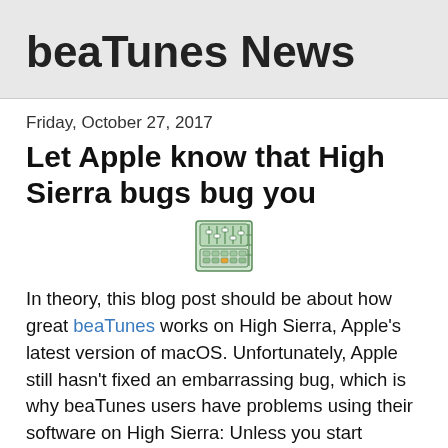beaTunes News
Friday, October 27, 2017
Let Apple know that High Sierra bugs bug you
[Figure (illustration): A small icon depicting a software mixer/equalizer interface with vertical sliders and a grid of buttons]
In theory, this blog post should be about how great beaTunes works on High Sierra, Apple's latest version of macOS. Unfortunately, Apple still hasn't fixed an embarrassing bug, which is why beaTunes users have problems using their software on High Sierra: Unless you start beaTunes with English as your system language, the menu bar may not work properly. The obvious workaround: change your system language to English and then start